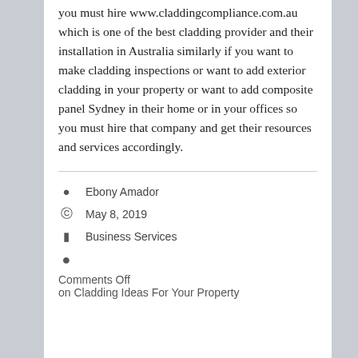you must hire www.claddingcompliance.com.au which is one of the best cladding provider and their installation in Australia similarly if you want to make cladding inspections or want to add exterior cladding in your property or want to add composite panel Sydney in their home or in your offices so you must hire that company and get their resources and services accordingly.
Ebony Amador
May 8, 2019
Business Services
Comments Off on Cladding Ideas For Your Property